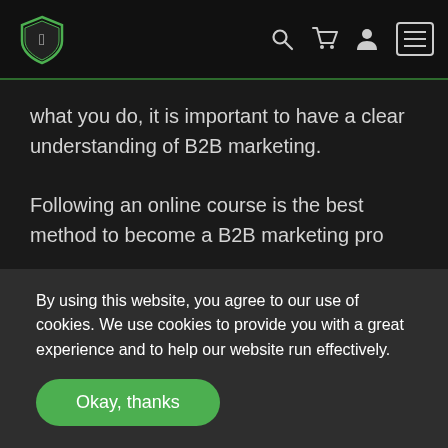Navigation bar with logo and icons
what you do, it is important to have a clear understanding of B2B marketing.
Following an online course is the best method to become a B2B marketing pro
By using this website, you agree to our use of cookies. We use cookies to provide you with a great experience and to help our website run effectively.
Okay, thanks